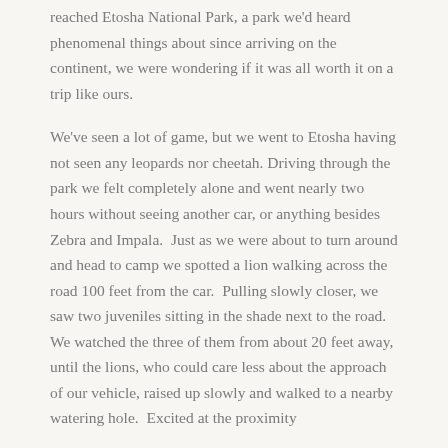reached Etosha National Park, a park we'd heard phenomenal things about since arriving on the continent, we were wondering if it was all worth it on a trip like ours.
We've seen a lot of game, but we went to Etosha having not seen any leopards nor cheetah. Driving through the park we felt completely alone and went nearly two hours without seeing another car, or anything besides Zebra and Impala.  Just as we were about to turn around and head to camp we spotted a lion walking across the road 100 feet from the car.  Pulling slowly closer, we saw two juveniles sitting in the shade next to the road.  We watched the three of them from about 20 feet away, until the lions, who could care less about the approach of our vehicle, raised up slowly and walked to a nearby watering hole.  Excited at the proximity